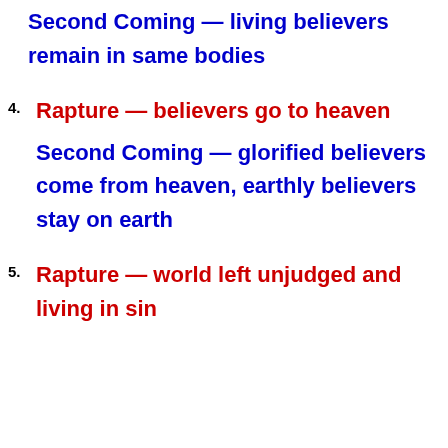Second Coming — living believers remain in same bodies
4. Rapture — believers go to heaven
Second Coming — glorified believers come from heaven, earthly believers stay on earth
5. Rapture — world left unjudged and living in sin